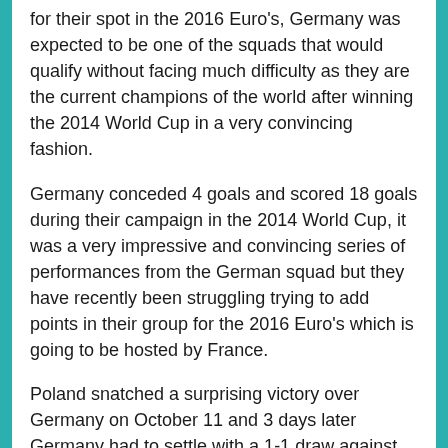for their spot in the 2016 Euro's, Germany was expected to be one of the squads that would qualify without facing much difficulty as they are the current champions of the world after winning the 2014 World Cup in a very convincing fashion.
Germany conceded 4 goals and scored 18 goals during their campaign in the 2014 World Cup, it was a very impressive and convincing series of performances from the German squad but they have recently been struggling trying to add points in their group for the 2016 Euro's which is going to be hosted by France.
Poland snatched a surprising victory over Germany on October 11 and 3 days later Germany had to settle with a 1-1 draw against Republic of Ireland.
The team of Joachim Low is currently located in the 4th